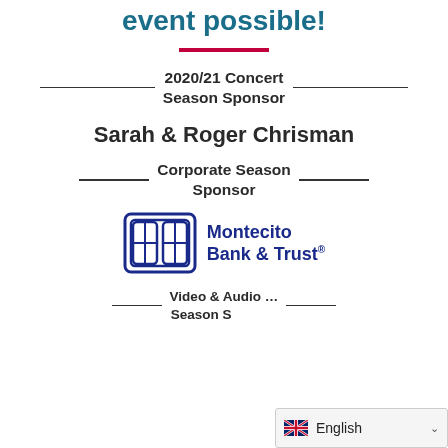event possible!
2020/21 Concert Season Sponsor
Sarah & Roger Chrisman
Corporate Season Sponsor
[Figure (logo): Montecito Bank & Trust logo with stylized interlocking M icon]
Video & Audio … Season Sponsor